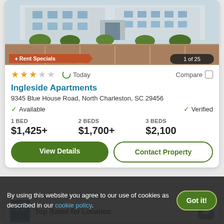[Figure (photo): Exterior photo of apartment building with parking lot and landscaping, showing a multi-unit residential building]
Rent Specials
1 of 25
★★★☆☆  Today  Compare
Ingleside Apartments
9345 Blue House Road, North Charleston, SC 29456
✓ Available  ✓ Verified
1 BED $1,425+  2 BEDS $1,700+  3 BEDS $2,100
View Details
Contact Property
Top Rated for Location
By using this website you agree to our use of cookies as described in our cookie policy.
Got it!